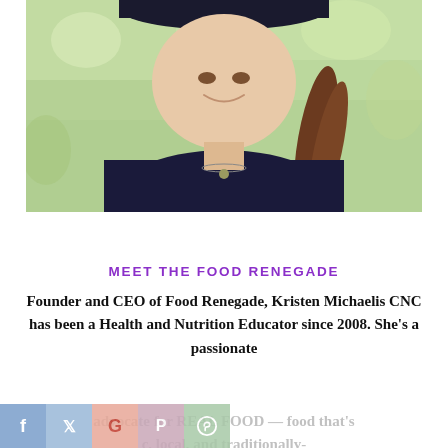[Figure (photo): Portrait photo of Kristen Michaelis CNC, a woman with a braided ponytail wearing a dark top and necklace, smiling, with a green blurred outdoor background.]
MEET THE FOOD RENEGADE
Founder and CEO of Food Renegade, Kristen Michaelis CNC has been a Health and Nutrition Educator since 2008. She’s a passionate advocate for REAL FOOD — food that’s organic, local, and traditionally-